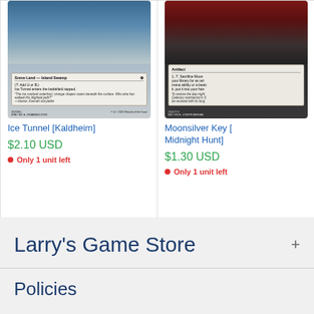[Figure (illustration): Ice Tunnel MTG card from Kaldheim — Snow Land Island Swamp with icy blue artwork]
Ice Tunnel [Kaldheim]
$2.10 USD
Only 1 unit left
[Figure (illustration): Moonsilver Key MTG card from Midnight Hunt — Artifact with dark red and black artwork]
Moonsilver Key [Midnight Hunt]
$1.30 USD
Only 1 unit left
Larry's Game Store
Policies